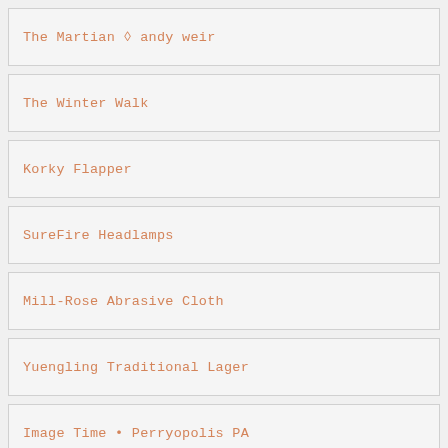The Martian ◊ andy weir
The Winter Walk
Korky Flapper
SureFire Headlamps
Mill-Rose Abrasive Cloth
Yuengling Traditional Lager
Image Time • Perryopolis PA
Behlen Behkol Solvent
Hartz Flea Collars